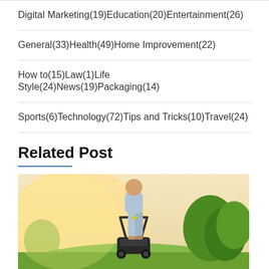Digital Marketing(19)Education(20)Entertainment(26)
General(33)Health(49)Home Improvement(22)
How to(15)Law(1)Life Style(24)News(19)Packaging(14)
Sports(6)Technology(72)Tips and Tricks(10)Travel(24)
Related Post
[Figure (photo): Person pushing a lawn mower outdoors, viewed from behind, with greenery and warm sunlight in the background.]